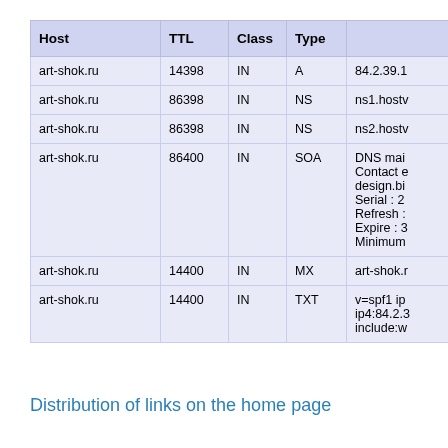| Host | TTL | Class | Type |  |
| --- | --- | --- | --- | --- |
| art-shok.ru | 14398 | IN | A | 84.2.39.1 |
| art-shok.ru | 86398 | IN | NS | ns1.hostv |
| art-shok.ru | 86398 | IN | NS | ns2.hostv |
| art-shok.ru | 86400 | IN | SOA | DNS mai
Contact e
design.bi
Serial : 2
Refresh :
Expire : 3
Minimum |
| art-shok.ru | 14400 | IN | MX | art-shok.r |
| art-shok.ru | 14400 | IN | TXT | v=spf1 ip
ip4:84.2.3
include:w |
Distribution of links on the home page